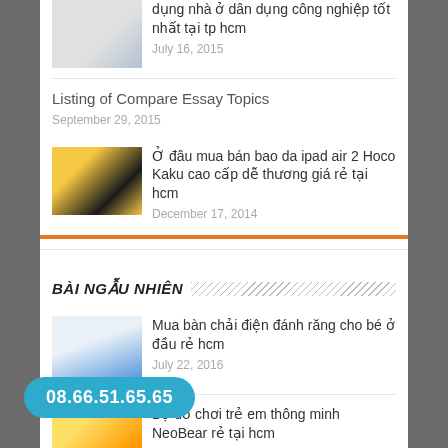dụng nhà ở dân dụng công nghiệp tốt nhất tại tp hcm
July 16, 2015
Listing of Compare Essay Topics
September 29, 2015
Ở đâu mua bán bao da ipad air 2 Hoco Kaku cao cấp dễ thương giá rẻ tại hcm
December 17, 2014
BÀI NGẪU NHIÊN
Mua bàn chải điện đánh răng cho bé ở đầu rẻ hcm
July 22, 2016
Bộ đồ chơi trẻ em thông minh NeoBear rẻ tại hcm
January 26, 2016
Leader
08.66.51.65.65